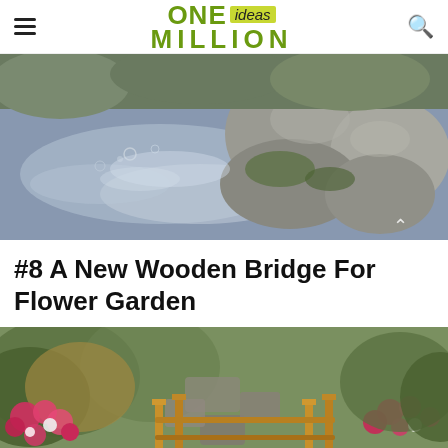ONE ideas MILLION
[Figure (photo): Close-up of a garden pond with large rounded rocks/boulders at the edge and still water reflecting clouds and sky, with green algae visible on the rocks and pond floor.]
#8 A New Wooden Bridge For Flower Garden
[Figure (photo): A wooden garden bridge with vertical post railings surrounded by colorful pink and white flowering plants and stone stepping path in a lush garden setting.]